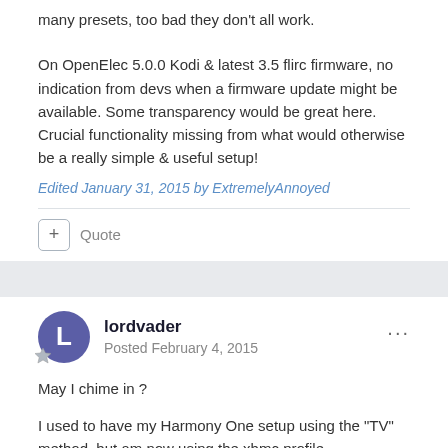many presets, too bad they don't all work.
On OpenElec 5.0.0 Kodi & latest 3.5 flirc firmware, no indication from devs when a firmware update might be available. Some transparency would be great here. Crucial functionality missing from what would otherwise be a really simple & useful setup!
Edited January 31, 2015 by ExtremelyAnnoyed
+ Quote
lordvader
Posted February 4, 2015
May I chime in ?
I used to have my Harmony One setup using the "TV" method, but am now using the xbmc profile.